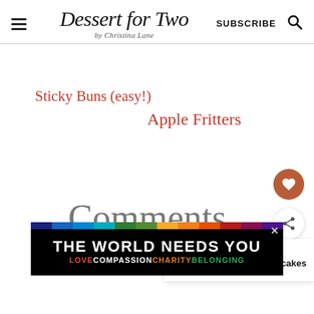Dessert for Two by Christina Lane — SUBSCRIBE
Sticky Buns (easy!)
Apple Fritters
Comments
[Figure (screenshot): WHAT'S NEXT arrow Maple Bacon Cupcakes thumbnail with cupcake image]
[Figure (infographic): THE WORLD NEEDS YOU advertisement banner with rainbow strip and LOVE COMPASSION CHARITY BELONGING text]